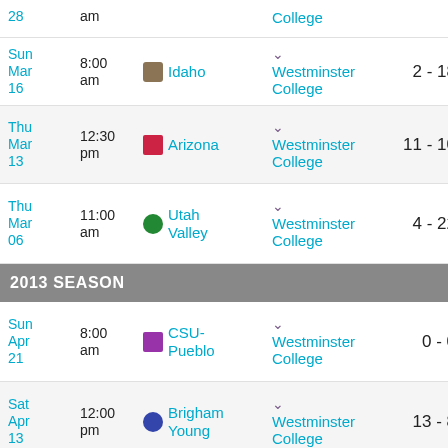| Date | Time | Opponent | Home | Score |
| --- | --- | --- | --- | --- |
| Sun Mar 28 | am |  | Westminster College |  |
| Sun Mar 16 | 8:00 am | Idaho | Westminster College | 2 - 18 |
| Thu Mar 13 | 12:30 pm | Arizona | Westminster College | 11 - 10 |
| Thu Mar 06 | 11:00 am | Utah Valley | Westminster College | 4 - 22 |
2013 SEASON
| Date | Time | Opponent | Home | Score |
| --- | --- | --- | --- | --- |
| Sun Apr 21 | 8:00 am | CSU-Pueblo | Westminster College | 0 - 0 |
| Sat Apr 13 | 12:00 pm | Brigham Young | Westminster College | 13 - 8 |